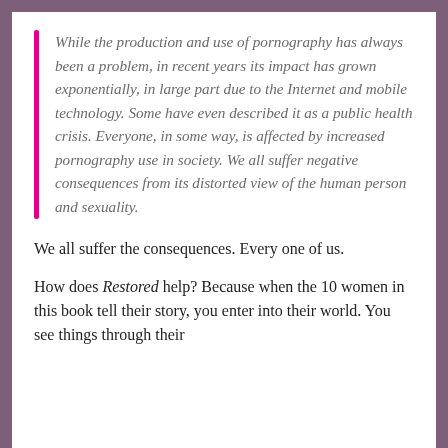While the production and use of pornography has always been a problem, in recent years its impact has grown exponentially, in large part due to the Internet and mobile technology. Some have even described it as a public health crisis. Everyone, in some way, is affected by increased pornography use in society. We all suffer negative consequences from its distorted view of the human person and sexuality.
We all suffer the consequences. Every one of us.
How does Restored help? Because when the 10 women in this book tell their story, you enter into their world. You see things through their